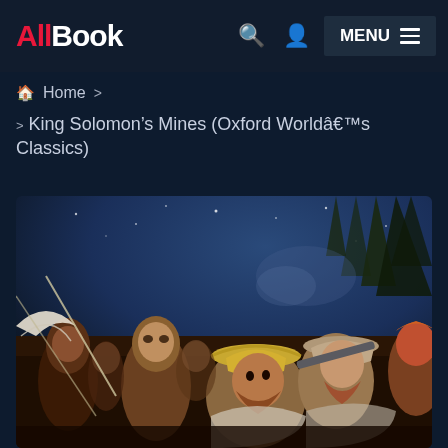AllBook — MENU navigation bar with search and user icons
Home > King Solomon's Mines (Oxford World's Classics)
[Figure (illustration): Dramatic painting scene from King Solomon's Mines showing figures in adventurous confrontation under a dark blue night sky with trees. Men wearing hats with weapons visible.]